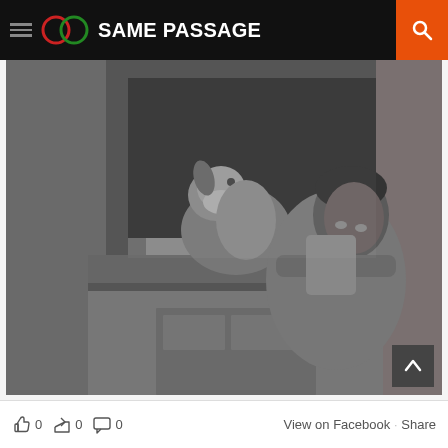SAME PASSAGE
[Figure (photo): Black and white photograph of a woman and a dog leaning out of a building window. The woman is smiling and resting her arms on the windowsill, and a medium-sized dog stands beside her, both looking outward.]
0  0  0  View on Facebook · Share